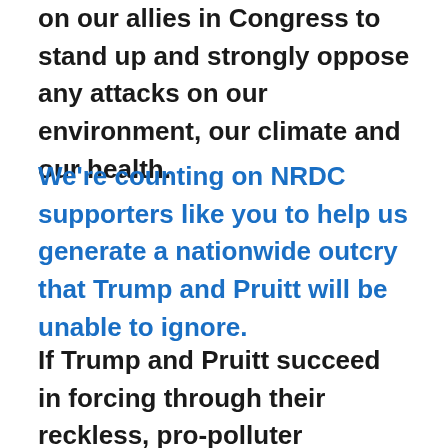on our allies in Congress to stand up and strongly oppose any attacks on our environment, our climate and our health.
We're counting on NRDC supporters like you to help us generate a nationwide outcry that Trump and Pruitt will be unable to ignore.
If Trump and Pruitt succeed in forcing through their reckless, pro-polluter